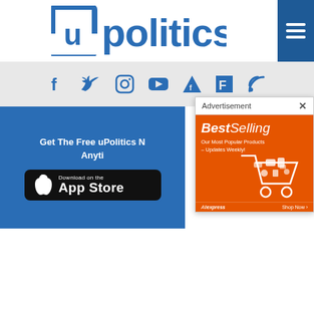[Figure (logo): uPolitics logo with stylized U bracket and blue text, plus hamburger menu button in blue square]
[Figure (infographic): Social media icon bar with Facebook, Twitter, Instagram, YouTube, Feedly, Flipboard, and RSS icons on gray background]
Get The Free uPolitics N... Anyti...
[Figure (screenshot): Download on the App Store button (black background, Apple logo)]
[Figure (infographic): Advertisement popup showing BestSelling - Our Most Popular Products - Updates Weekly! on orange background with shopping cart graphic, AliExpress branding and Shop Now button]